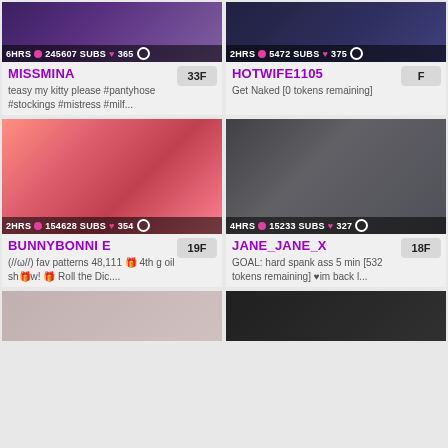[Figure (screenshot): Thumbnail for MISSMINA stream, dark/purple tones]
6HRS 245607 SUBS 365
MISSMINA
teasy my kitty please #pantyhose #stockings #mistress #milf...
33F
[Figure (screenshot): Thumbnail for HOTWIFE1105 stream, dark tones]
2HRS 5472 SUBS 375
HOTWIFE1105
Get Naked [0 tokens remaining]
F
[Figure (screenshot): Thumbnail for BUNNYBONNI E stream, pink/warm tones, redhead]
2HRS 154628 SUBS 354
BUNNYBONNI E
(//ω//) fav patterns 48,111 🎁 4th g oil show! 🎁 Roll the Dic....
19F
[Figure (screenshot): Thumbnail for JANE_JANE_X stream, grey apartment, blonde]
4HRS 15233 SUBS 327
JANE_JANE_X
GOAL: hard spank ass 5 min [532 tokens remaining] ♥im back l...
18F
[Figure (screenshot): Thumbnail partial bottom-left]
[Figure (screenshot): Thumbnail partial bottom-right]